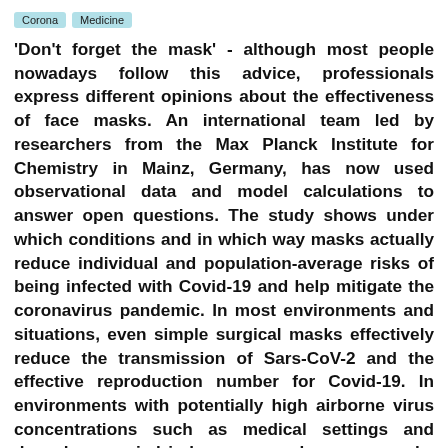Corona | Medicine
'Don't forget the mask' - although most people nowadays follow this advice, professionals express different opinions about the effectiveness of face masks. An international team led by researchers from the Max Planck Institute for Chemistry in Mainz, Germany, has now used observational data and model calculations to answer open questions. The study shows under which conditions and in which way masks actually reduce individual and population-average risks of being infected with Covid-19 and help mitigate the coronavirus pandemic. In most environments and situations, even simple surgical masks effectively reduce the transmission of Sars-CoV-2 and the effective reproduction number for Covid-19. In environments with potentially high airborne virus concentrations such as medical settings and densely occupied indoor spaces, however, masks with higher filtration efficiency